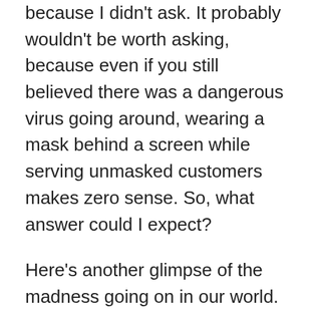because I didn't ask. It probably wouldn't be worth asking, because even if you still believed there was a dangerous virus going around, wearing a mask behind a screen while serving unmasked customers makes zero sense. So, what answer could I expect?
Here's another glimpse of the madness going on in our world. It was at the same petrol station, another day. A car drove up, and a woman got out to fill her tank. Nothing unusual about that until I spotted the bumper sticker on her vehicle.
It said: Glory to Ukraine.